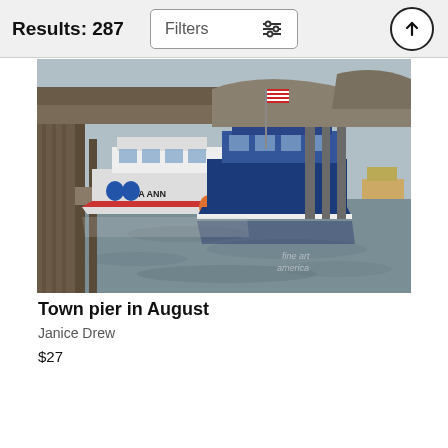Results: 287
[Figure (photo): Harbor scene with fishing boats docked at a town pier. A dark blue boat and a white boat labeled 'AVA ANN' are moored at wooden pilings. Blue barrels visible on the dock. American flag in background. Watermark reads 'fine art america'.]
Town pier in August
Janice Drew
$27